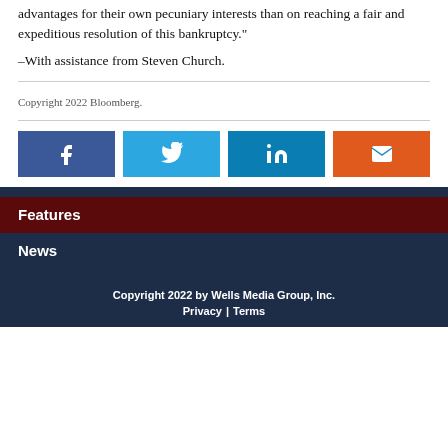advantages for their own pecuniary interests than on reaching a fair and expeditious resolution of this bankruptcy."
–With assistance from Steven Church.
Copyright 2022 Bloomberg.
[Figure (other): Social share buttons: Facebook, Twitter, LinkedIn, Email]
Features
News
Copyright 2022 by Wells Media Group, Inc. Privacy | Terms